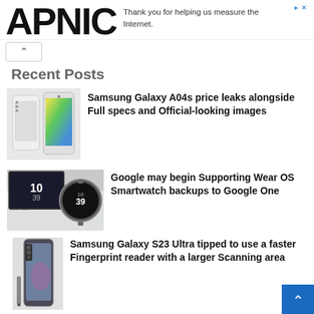APNIC
Thank you for helping us measure the Internet.
Recent Posts
[Figure (photo): Samsung Galaxy A04s phones — white device and colorful-screen device side by side]
Samsung Galaxy A04s price leaks alongside Full specs and Official-looking images
[Figure (photo): Smartwatch on wrist near keyboard showing Wear OS watch face]
Google may begin Supporting Wear OS Smartwatch backups to Google One
[Figure (photo): Samsung Galaxy S23 Ultra phone with S-Pen]
Samsung Galaxy S23 Ultra tipped to use a faster Fingerprint reader with a larger Scanning area